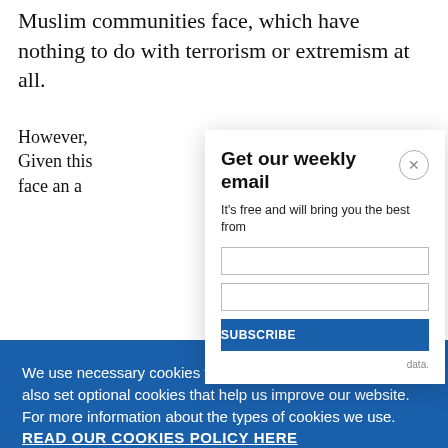Muslim communities face, which have nothing to do with terrorism or extremism at all.
However, ... Given this ... face an a...
[Figure (screenshot): Email signup modal popup with title 'Get our weekly email', subtitle 'It's free and will bring you the best from', a close button (x), input fields, subscribe button, and data privacy note.]
We use necessary cookies that allow our site to work. We also set optional cookies that help us improve our website. For more information about the types of cookies we use. READ OUR COOKIES POLICY HERE
COOKIE SETTINGS
ALLOW ALL COOKIES
groups a...